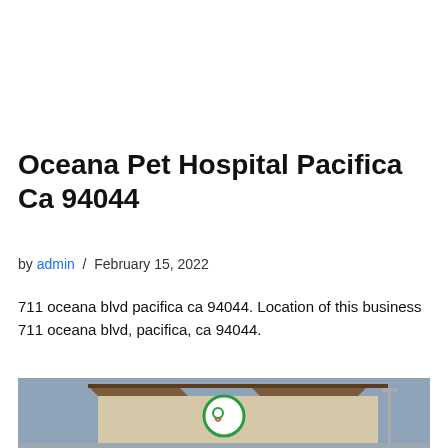Oceana Pet Hospital Pacifica Ca 94044
by admin / February 15, 2022
711 oceana blvd pacifica ca 94044. Location of this business 711 oceana blvd, pacifica, ca 94044.
[Figure (photo): Exterior photo of Oceana Pet Hospital building at dusk showing the rooftop sign with a green circular logo featuring a pet silhouette, against a grey-blue sky.]